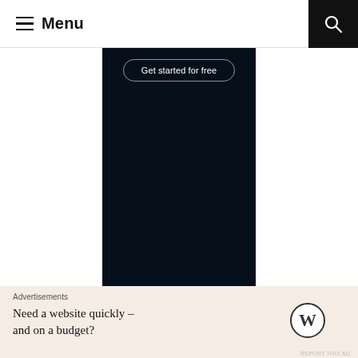Menu
[Figure (screenshot): Dark mobile app screenshot showing a 'Get started for free' button on a nearly black background]
REPORT THIS AD
FOLLOW ME
Advertisements
Need a website quickly – and on a budget?
REPORT THIS AD